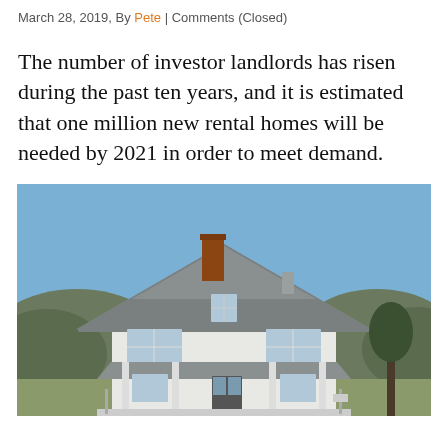March 28, 2019, By Pete | Comments (Closed)
The number of investor landlords has risen during the past ten years, and it is estimated that one million new rental homes will be needed by 2021 in order to meet demand.
[Figure (photo): A white two-story house with grey shingled roof, brick chimney, white columns on front porch, surrounded by bare winter trees and blue sky.]